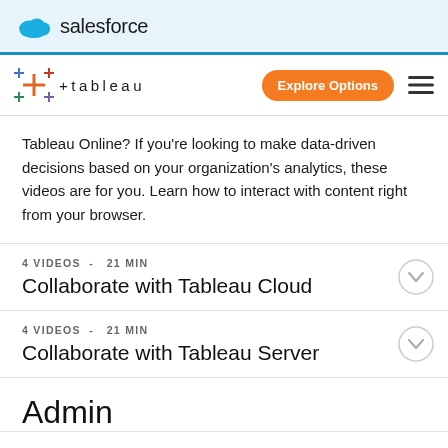salesforce
[Figure (logo): Tableau logo with colorful cross/plus icon and wordmark '+tableau' with Explore Options button and hamburger menu]
Tableau Online? If you're looking to make data-driven decisions based on your organization's analytics, these videos are for you. Learn how to interact with content right from your browser.
4 VIDEOS - 21 MIN
Collaborate with Tableau Cloud
4 VIDEOS - 21 MIN
Collaborate with Tableau Server
Admin